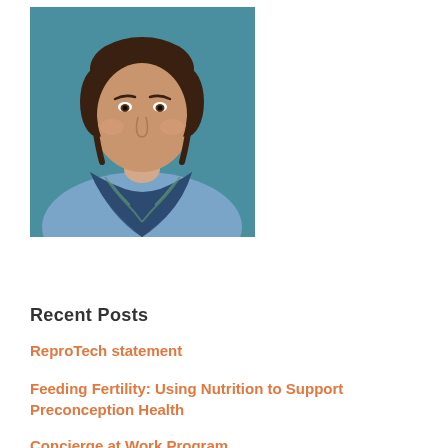[Figure (photo): Headshot of a woman with short dark hair, wearing a blue top and a patterned blue/green scarf, smiling against a teal background.]
Recent Posts
ReproTech statement
Feeding Fertility: Using Nutrition to Support Preconception Health
Concierge at Work Program